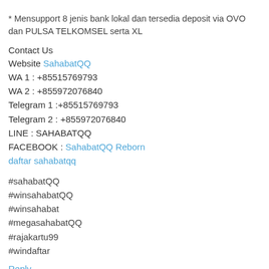* Mensupport 8 jenis bank lokal dan tersedia deposit via OVO dan PULSA TELKOMSEL serta XL
Contact Us
Website SahabatQQ
WA 1 : +85515769793
WA 2 : +855972076840
Telegram 1 :+85515769793
Telegram 2 : +855972076840
LINE : SAHABATQQ
FACEBOOK : SahabatQQ Reborn
daftar sahabatqq
#sahabatQQ
#winsahabatQQ
#winsahabat
#megasahabatQQ
#rajakartu99
#windaftar
Reply